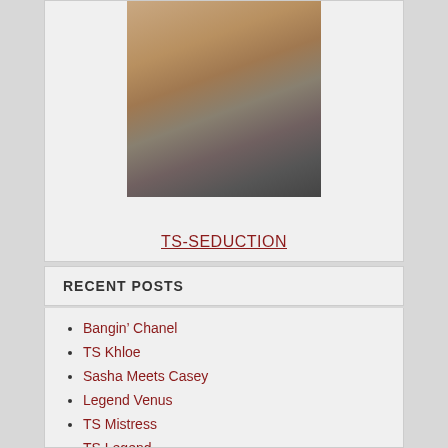[Figure (photo): A photograph of two people in an intimate scene, partially cropped at top of page]
TS-SEDUCTION
RECENT POSTS
Bangin’ Chanel
TS Khloe
Sasha Meets Casey
Legend Venus
TS Mistress
TS Legend
Aubrey